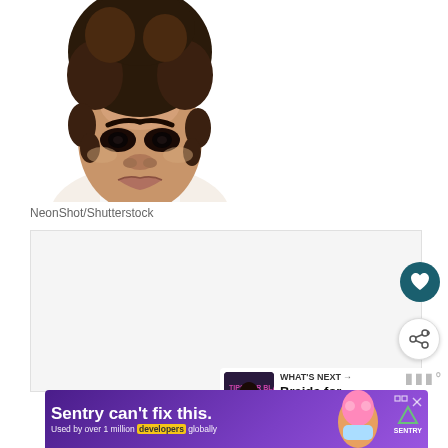[Figure (photo): Portrait photo of a young Black woman with natural curly hair styled up, wearing smoky eye makeup and a brown choker necklace, white background, from NeonShot/Shutterstock]
NeonShot/Shutterstock
[Figure (screenshot): Web page content area with white/light gray background, heart favorite button (dark teal circle), share button (white circle with share icon), and a 'WHAT'S NEXT' card showing 'Braids for Black Wome...' with a thumbnail]
[Figure (other): Advertisement banner: 'Sentry can't fix this. Used by over 1 million developers globally' with Sentry logo, purple background with illustrated character]